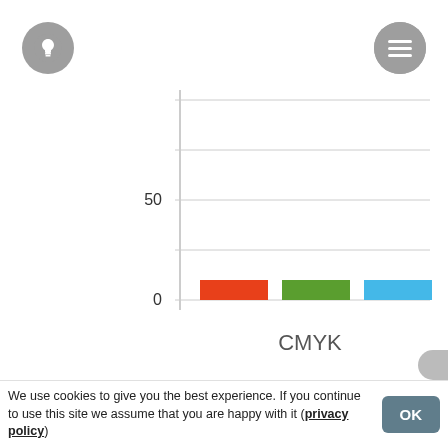[Figure (bar-chart): CMYK]
100
We use cookies to give you the best experience. If you continue to use this site we assume that you are happy with it (privacy policy)